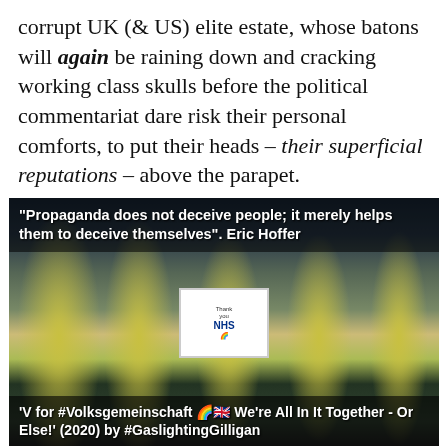corrupt UK (& US) elite estate, whose batons will again be raining down and cracking working class skulls before the political commentariat dare risk their personal comforts, to put their heads – their superficial reputations – above the parapet.
[Figure (photo): Photo of police officers in high-visibility jackets clapping, with one holding a 'Thank you NHS' sign. Overlaid with text quotes at top and bottom.]